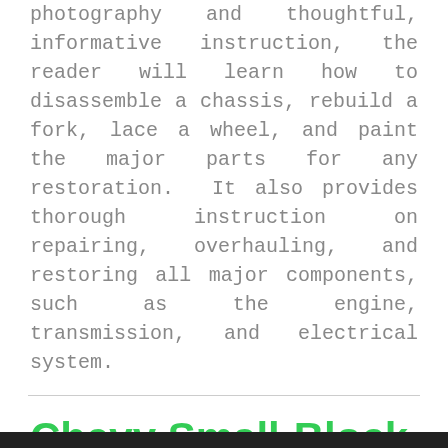photography and thoughtful, informative instruction, the reader will learn how to disassemble a chassis, rebuild a fork, lace a wheel, and paint the major parts for any restoration. It also provides thorough instruction on repairing, overhauling, and restoring all major components, such as the engine, transmission, and electrical system.
Chevy Small-Block V-8 Interchange Manual, 2nd Edition